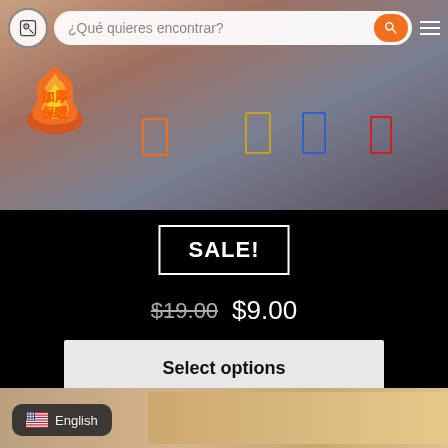[Figure (screenshot): E-commerce product page screenshot showing a thermal undershirt product. Top section has a search bar overlay with '¿Qué quieres encontrar?' placeholder, an orange search button, and a menu icon on a dark background. The product image shows a person wearing a beige thermal undershirt with Chinese characters '加厚保暖' (thick thermal) badge with flame effect, and colored rectangle selection indicators. Below the image: a SALE! badge, original price $19.00 crossed out with sale price $9.00, and a 'Select options' button. Bottom strip shows part of another product image with English language selector pill.]
¿Qué quieres encontrar?
加厚保暖
SALE!
$19.00  $9.00
Select options
English